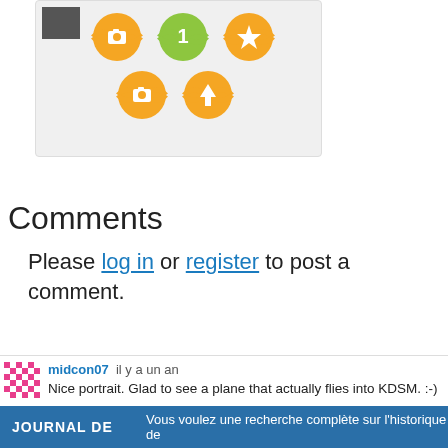[Figure (screenshot): Badge card with avatar thumbnail and 5 badge icons in two rows on a light gray background]
Comments
Please log in or register to post a comment.
midcon07 il y a un an
Nice portrait. Glad to see a plane that actually flies into KDSM. :-}
Report
JOURNAL DE   Vous voulez une recherche complète sur l'historique de